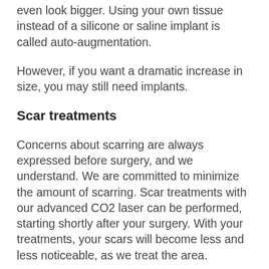even look bigger. Using your own tissue instead of a silicone or saline implant is called auto-augmentation.
However, if you want a dramatic increase in size, you may still need implants.
Scar treatments
Concerns about scarring are always expressed before surgery, and we understand. We are committed to minimize the amount of scarring. Scar treatments with our advanced CO2 laser can be performed, starting shortly after your surgery. With your treatments, your scars will become less and less noticeable, as we treat the area.